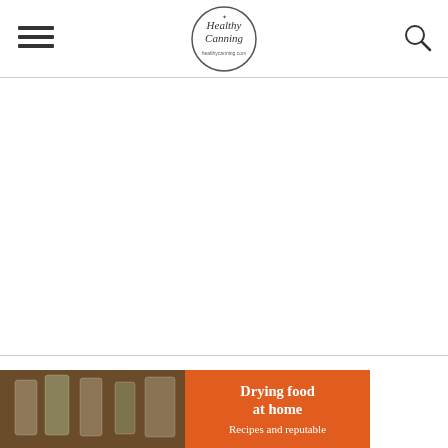Healthy Canning
[Figure (other): Advertisement / blank white space area]
[Figure (other): Book promotional image showing 'Drying food at home - Recipes and reputable' with jars of dried food in background and orange overlay]